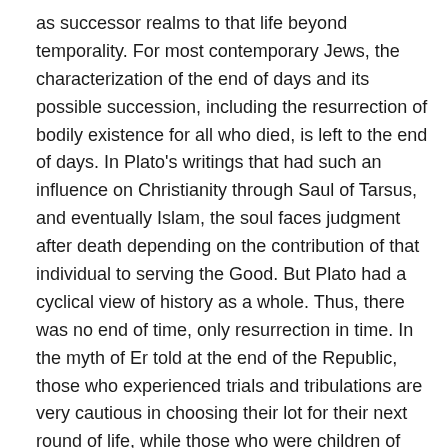as successor realms to that life beyond temporality. For most contemporary Jews, the characterization of the end of days and its possible succession, including the resurrection of bodily existence for all who died, is left to the end of days. In Plato's writings that had such an influence on Christianity through Saul of Tarsus, and eventually Islam, the soul faces judgment after death depending on the contribution of that individual to serving the Good. But Plato had a cyclical view of history as a whole. Thus, there was no end of time, only resurrection in time. In the myth of Er told at the end of the Republic, those who experienced trials and tribulations are very cautious in choosing their lot for their next round of life, while those who were children of privilege are ignorant of caution and rashly choose their lots for their next life on earth. The synthesis of judgment of each individual by a